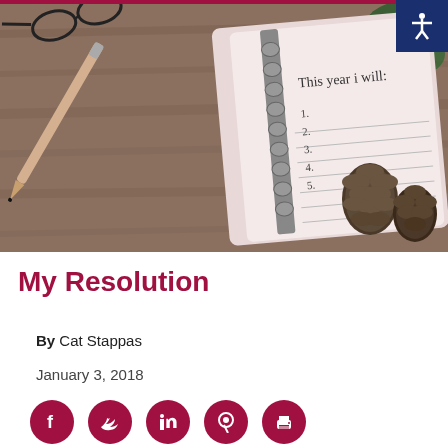[Figure (photo): A spiral notebook open on a wooden table with a pen and glasses nearby, pinecones and a plant in background. The notebook reads 'This year i will:' with numbered lines 1-5.]
My Resolution
By Cat Stappas
January 3, 2018
[Figure (other): Social media share icons: Facebook, Twitter, LinkedIn, Pinterest, Print — dark red circles]